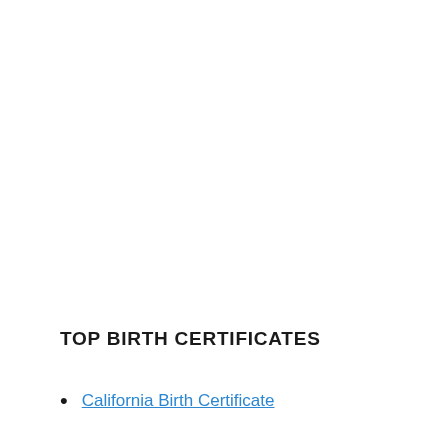TOP BIRTH CERTIFICATES
California Birth Certificate